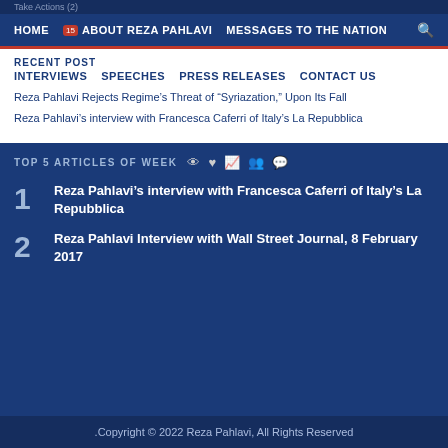Take Actions (2)
HOME  ABOUT REZA PAHLAVI  MESSAGES TO THE NATION
RECENT POST
INTERVIEWS  SPEECHES  PRESS RELEASES  CONTACT US
Reza Pahlavi Rejects Regime’s Threat of “Syriazation,” Upon Its Fall
Reza Pahlavi’s interview with Francesca Caferri of Italy’s La Repubblica
TOP 5 ARTICLES OF WEEK
1  Reza Pahlavi’s interview with Francesca Caferri of Italy’s La Repubblica
2  Reza Pahlavi Interview with Wall Street Journal, 8 February 2017
.Copyright © 2022 Reza Pahlavi, All Rights Reserved